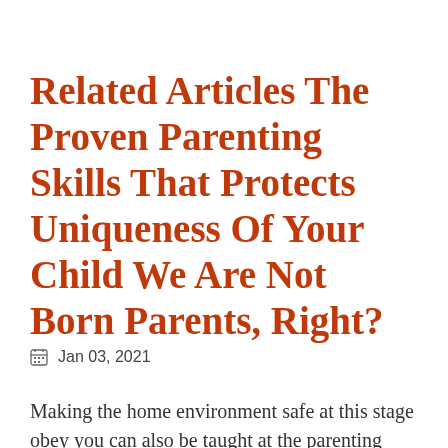Related Articles The Proven Parenting Skills That Protects Uniqueness Of Your Child We Are Not Born Parents, Right?
📅 Jan 03, 2021
Making the home environment safe at this stage obey you can also be taught at the parenting